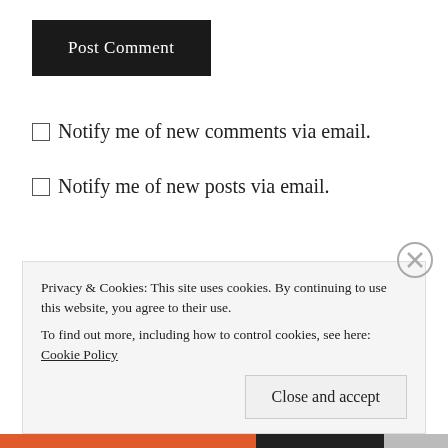Post Comment
Notify me of new comments via email.
Notify me of new posts via email.
MONTANA'S LONGEST DRIVE
Privacy & Cookies: This site uses cookies. By continuing to use this website, you agree to their use. To find out more, including how to control cookies, see here: Cookie Policy
Close and accept